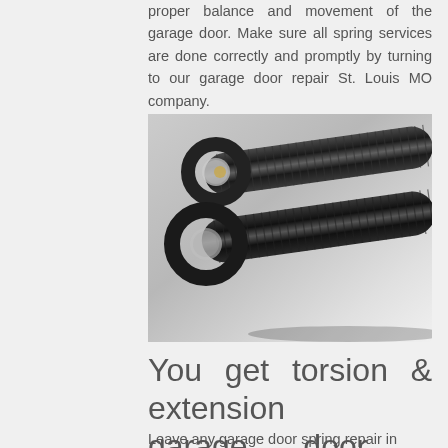proper balance and movement of the garage door. Make sure all spring services are done correctly and promptly by turning to our garage door repair St. Louis MO company.
[Figure (photo): Close-up photo of two dark black coiled torsion/extension garage door springs lying side by side, with circular end loops visible on the left side, against a light background.]
You get torsion & extension garage door springs repair in St. Louis fast
Leave any garage door spring repair in